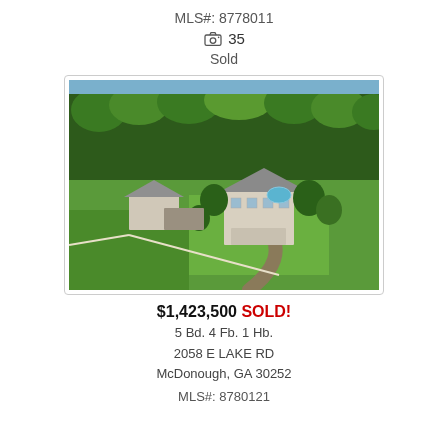MLS#: 8778011
📷 35
Sold
[Figure (photo): Aerial drone photograph of a large residential property with a two-story white house, pool, outbuildings, and surrounding green lawns and dense tree line.]
$1,423,500 SOLD!
5 Bd. 4 Fb. 1 Hb.
2058 E LAKE RD
McDonough, GA 30252
MLS#: 8780121